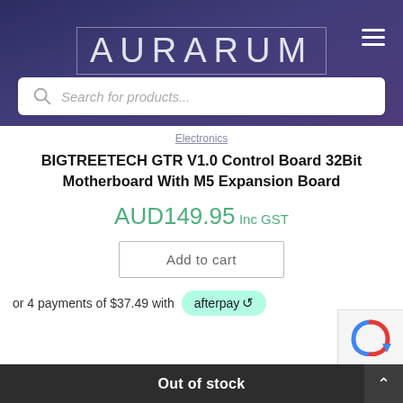AURARUM
Search for products...
Electronics
BIGTREETECH GTR V1.0 Control Board 32Bit Motherboard With M5 Expansion Board
AUD149.95 Inc GST
Add to cart
or 4 payments of $37.49 with afterpay
Out of stock